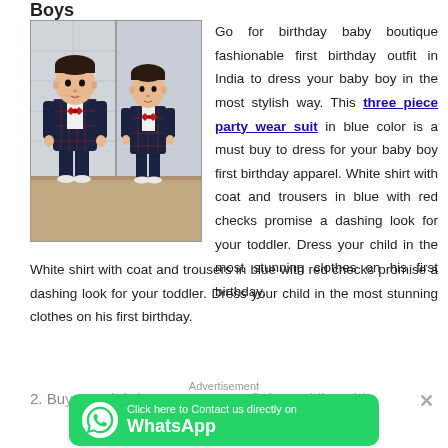Boys
[Figure (photo): Two young toddler boys wearing matching dark blue checked three-piece suits with red bow ties and white shirts, one facing forward and one slightly to the side, in what appears to be a bathroom or tiled room.]
Go for birthday baby boutique fashionable first birthday outfit in India to dress your baby boy in the most stylish way. This three piece party wear suit in blue color is a must buy to dress for your baby boy first birthday apparel. White shirt with coat and trousers in blue with red checks promise a dashing look for your toddler. Dress your child in the most stunning clothes on his first birthday.
2. Buy 1st Birthday Party Top Outfit for Toddler Girl
Advertisement
[Figure (screenshot): WhatsApp advertisement banner: green button with WhatsApp logo and text 'Click here to Contact us directly on WhatsApp']